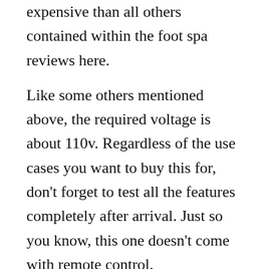expensive than all others contained within the foot spa reviews here.
Like some others mentioned above, the required voltage is about 110v. Regardless of the use cases you want to buy this for, don't forget to test all the features completely after arrival. Just so you know, this one doesn't come with remote control.
Pros
High performing power
Offers varying health benefits